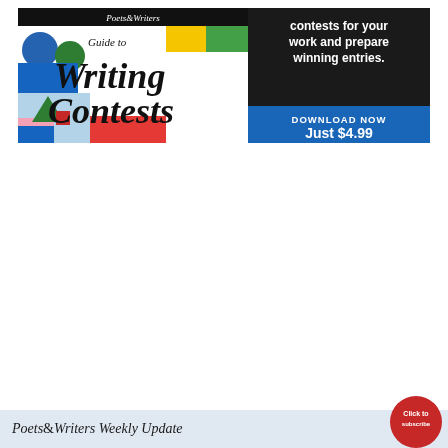[Figure (illustration): Advertisement for Poets & Writers Guide to Writing Contests ebook. Left side shows colorful book cover with geometric shapes and italic serif typography. Right side has dark background with white bold text reading 'contests for your work and prepare winning entries.' and a blue banner below with 'DOWNLOAD NOW Just $4.99'.]
Poets & Writers Weekly Update